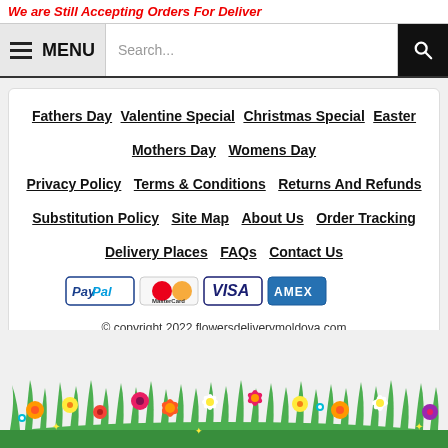We are Still Accepting Orders For Deliver
[Figure (screenshot): Website navigation bar with hamburger menu icon, MENU label, search box, and search button]
Fathers Day
Valentine Special
Christmas Special
Easter
Mothers Day
Womens Day
Privacy Policy
Terms & Conditions
Returns And Refunds
Substitution Policy
Site Map
About Us
Order Tracking
Delivery Places
FAQs
Contact Us
[Figure (logo): Payment method icons: PayPal, MasterCard, Visa, American Express]
© copyright,2022 flowersdeliverymoldova.com
[Figure (illustration): Decorative illustration of colorful flowers and green grass at the bottom of the page]